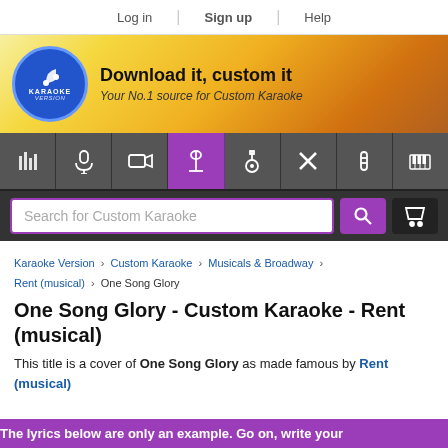Log in | Sign up | Help
[Figure (logo): Karaoke Version logo — blue circle with music note and text]
Download it, custom it
Your No.1 source for Custom Karaoke
[Figure (infographic): Toolbar with icons: equalizer, microphone, video camera, microphone on stand (active/purple), guitar, scissors/cross, guitar neck, piano keys]
Search for Custom Karaoke
Karaoke Version > Custom Karaoke > Musicals & Broadway > Rent (musical) > One Song Glory
One Song Glory - Custom Karaoke - Rent (musical)
This title is a cover of One Song Glory as made famous by Rent (musical)
The lyrics below are only an example. Go on, write your